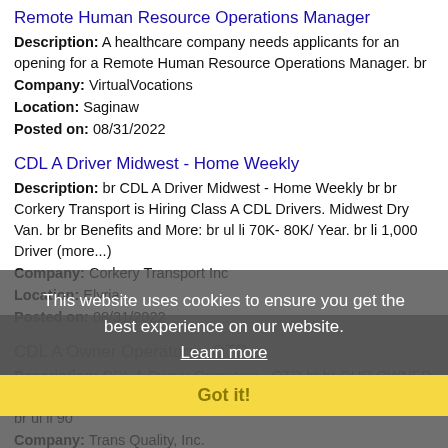Remote Human Resource Operations Manager
Description: A healthcare company needs applicants for an opening for a Remote Human Resource Operations Manager. br
Company: VirtualVocations
Location: Saginaw
Posted on: 08/31/2022
CDL A Driver Midwest - Home Weekly
Description: br CDL A Driver Midwest - Home Weekly br br Corkery Transport is Hiring Class A CDL Drivers. Midwest Dry Van. br br Benefits and More: br ul li 70K- 80K/ Year. br li 1,000 Driver (more...)
Company: Corkery Transport Inc
Location: Elyria
Posted on: 08/31/2022
CDL A Owner Operators - OTR
Description: CDL A Owner Operators - OTR br br OUR OWNER OPERATORS EARN 90 of GROSS - UP TO 8,000 PER WEEK br ul li 90
Company: Trans Quality, Inc.
Location: Elyria
Posted on: 08/31/2022
This website uses cookies to ensure you get the best experience on our website. Learn more Got it!